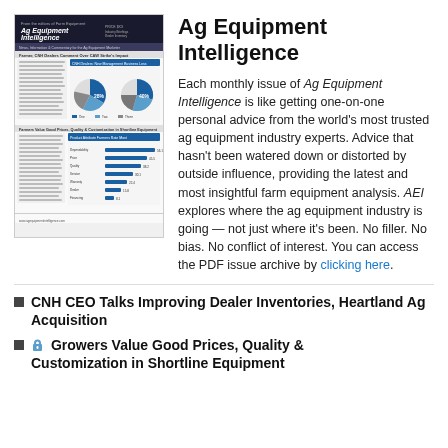[Figure (screenshot): Thumbnail image of an Ag Equipment Intelligence newsletter page showing pie charts and bar charts]
Ag Equipment Intelligence
Each monthly issue of Ag Equipment Intelligence is like getting one-on-one personal advice from the world's most trusted ag equipment industry experts. Advice that hasn't been watered down or distorted by outside influence, providing the latest and most insightful farm equipment analysis. AEI explores where the ag equipment industry is going — not just where it's been. No filler. No bias. No conflict of interest. You can access the PDF issue archive by clicking here.
CNH CEO Talks Improving Dealer Inventories, Heartland Ag Acquisition
🔒 Growers Value Good Prices, Quality & Customization in Shortline Equipment